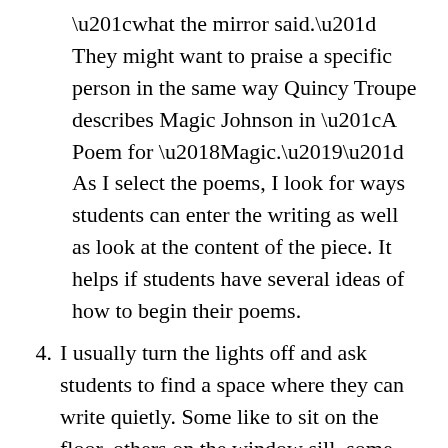“what the mirror said.” They might want to praise a specific person in the same way Quincy Troupe describes Magic Johnson in “A Poem for ‘Magic.’” As I select the poems, I look for ways students can enter the writing as well as look at the content of the piece. It helps if students have several ideas of how to begin their poems.
4. I usually turn the lights off and ask students to find a space where they can write quietly. Some like to sit on the floor, others on the window sill, some turn their desks to the wall. This allows them time to get prepared. Then I tell